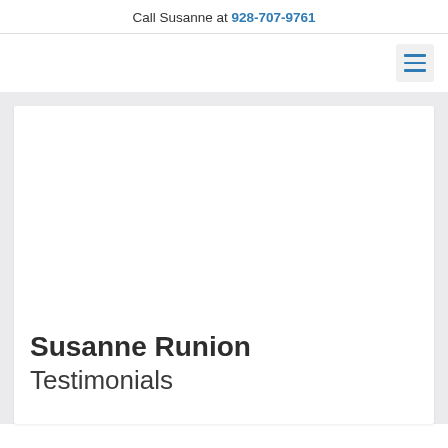Call Susanne at 928-707-9761
[Figure (screenshot): Navigation bar with hamburger menu icon (three horizontal blue lines) in a light gray box on the right side]
[Figure (photo): Large white card / hero image area with light gray background, mostly blank/white content area]
Susanne Runion
Testimonials